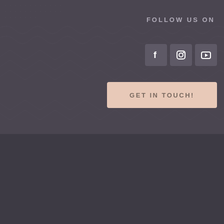FOLLOW US ON
[Figure (illustration): Three social media icon buttons: Facebook (f), Instagram (camera icon), and YouTube (play button), displayed as rounded square icons on a dark background.]
GET IN TOUCH!
© 2022 Spiritworks Healing Arts | Disclaimer | Site Design by Diamond Life Media